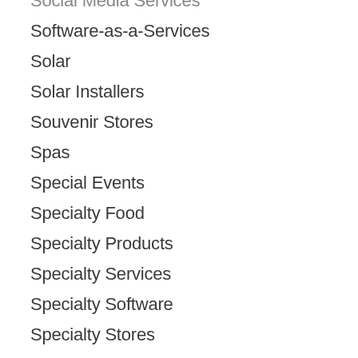Social Media Services
Software-as-a-Services
Solar
Solar Installers
Souvenir Stores
Spas
Special Events
Specialty Food
Specialty Products
Specialty Services
Specialty Software
Specialty Stores
Specialty Technology
Sporting Events
Sporting Goods
Sports and Recreation